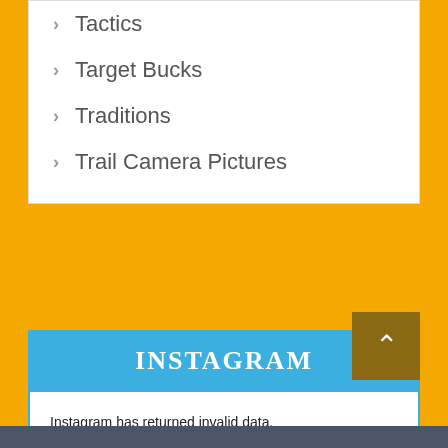Tactics
Target Bucks
Traditions
Trail Camera Pictures
INSTAGRAM
Instagram has returned invalid data.
Follow @CommonGroundBowhunter on IG!